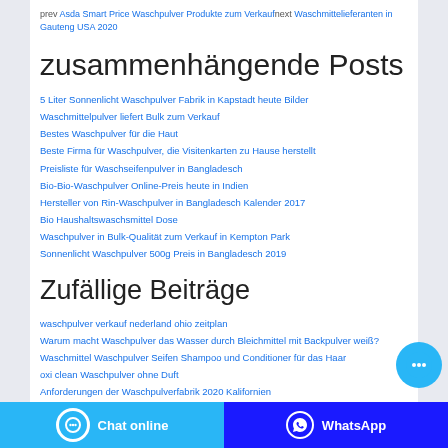prev Asda Smart Price Waschpulver Produkte zum Verkauf next Waschmittelieferanten in Gauteng USA 2020
zusammenhängende Posts
5 Liter Sonnenlicht Waschpulver Fabrik in Kapstadt heute Bilder
Waschmittelpulver liefert Bulk zum Verkauf
Bestes Waschpulver für die Haut
Beste Firma für Waschpulver, die Visitenkarten zu Hause herstellt
Preisliste für Waschseifenpulver in Bangladesch
Bio-Bio-Waschpulver Online-Preis heute in Indien
Hersteller von Rin-Waschpulver in Bangladesch Kalender 2017
Bio Haushaltswaschsmittel Dose
Waschpulver in Bulk-Qualität zum Verkauf in Kempton Park
Sonnenlicht Waschpulver 500g Preis in Bangladesch 2019
Zufällige Beiträge
waschpulver verkauf nederland ohio zeitplan
Warum macht Waschpulver das Wasser durch Bleichmittel mit Backpulver weiß?
Waschmittel Waschpulver Seifen Shampoo und Conditioner für das Haar
oxi clean Waschpulver ohne Duft
Anforderungen der Waschpulverfabrik 2020 Kalifornien
lieferant von waschpulverwäsche in london ohio
Asda Nicht-Bio-Waschpulver
Fabrikladen für Waschpulver und Reinigungschemikalien in Singapur 2017
Waschpulver ne demek u 1
Chat online | WhatsApp